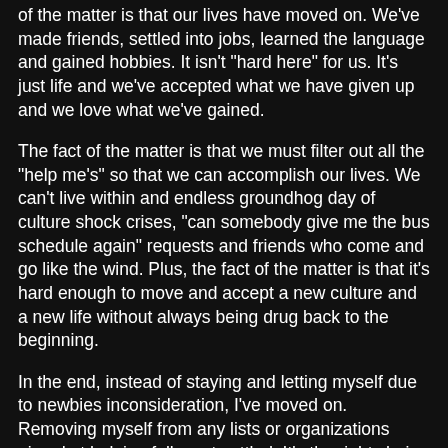of the matter is that our lives have moved on. We've made friends, settled into jobs, learned the language and gained hobbies. It isn't "hard here" for us. It's just life and we've accepted what we have given up and we love what we've gained.
The fact of the matter is that we must filter out all the "help me's" so that we can accomplish our lives. We can't live within and endless groundhog day of culture shock crises, "can somebody give me the bus schedule again" requests and friends who come and go like the wind. Plus, the fact of the matter is that it's hard enough to move and accept a new culture and a new life without always being drug back to the beginning.
In the end, instead of staying and letting myself due to newbies inconsideration, I've moved on. Removing myself from any lists or organizations aimed at helping folks get settled. It's the right choice for me to step of the wheel and let it roll on by.
What I will do is keep sharing things I love and find useful via